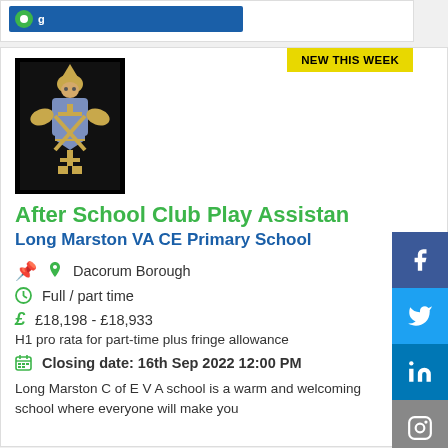[Figure (logo): Blue banner with location/jobs website logo at top of page]
NEW THIS WEEK
[Figure (illustration): School crest/coat of arms on black background - bishop figure with golden robes and blue shield with crossed pattern]
After School Club Play Assistant
Long Marston VA CE Primary School
Dacorum Borough
Full / part time
£18,198 - £18,933
H1 pro rata for part-time plus fringe allowance
Closing date: 16th Sep 2022 12:00 PM
Long Marston C of E V A school is a warm and welcoming school where everyone will make you